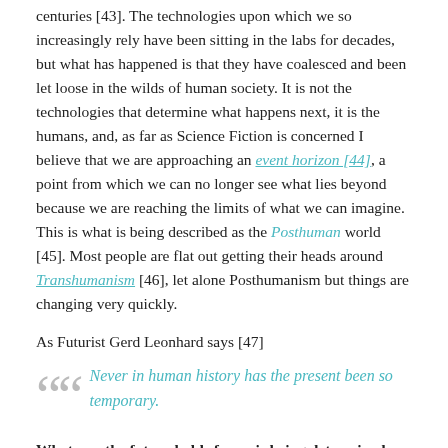centuries [43]. The technologies upon which we so increasingly rely have been sitting in the labs for decades, but what has happened is that they have coalesced and been let loose in the wilds of human society. It is not the technologies that determine what happens next, it is the humans, and, as far as Science Fiction is concerned I believe that we are approaching an event horizon [44], a point from which we can no longer see what lies beyond because we are reaching the limits of what we can imagine. This is what is being described as the Posthuman world [45]. Most people are flat out getting their heads around Transhumanism [46], let alone Posthumanism but things are changing very quickly.
As Futurist Gerd Leonhard says [47]
Never in human history has the present been so temporary.
Whatever the future holds for us is being determined right